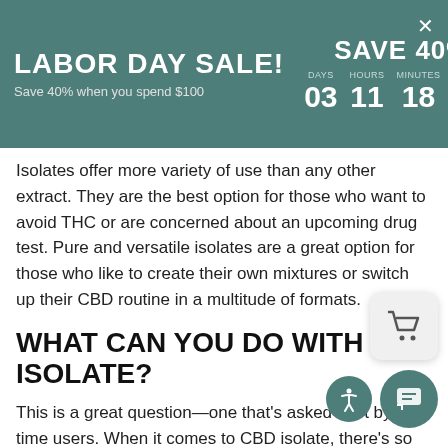LABOR DAY SALE! Save 40% when you spend $100 | SAVE 40% | DAYS 03 HOURS 11 MINUTES 18 SECONDS 20
Isolates offer more variety of use than any other extract. They are the best option for those who want to avoid THC or are concerned about an upcoming drug test. Pure and versatile isolates are a great option for those who like to create their own mixtures or switch up their CBD routine in a multitude of formats.
WHAT CAN YOU DO WITH CBD ISOLATE?
This is a great question—one that's asked a lot by first-time users. When it comes to CBD isolate, there's so much versatility that many consumers might have a hard time deciding how they want to